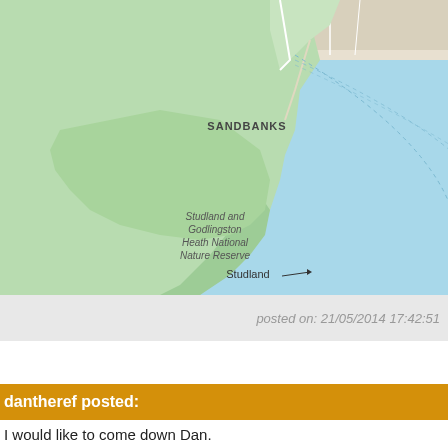[Figure (map): Google Maps screenshot showing the coastline around Sandbanks, Studland, Swanage, and surrounding areas including Studland and Godlingston Heath National Nature Reserve. Blue sea to the right, green land areas to the left. Dashed arc lines visible over the sea.]
posted on: 21/05/2014 17:42:51
dantheref posted:
I would like to come down Dan.